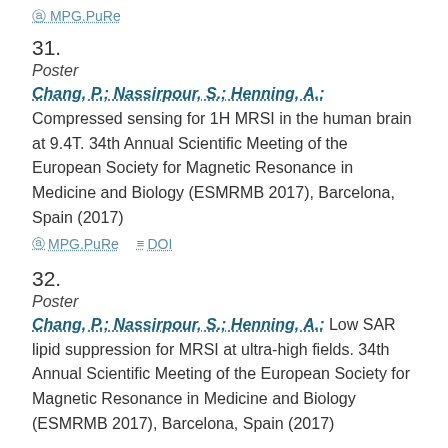MPG.PuRe
31.
Poster
Chang, P.; Nassirpour, S.; Henning, A.: Compressed sensing for 1H MRSI in the human brain at 9.4T. 34th Annual Scientific Meeting of the European Society for Magnetic Resonance in Medicine and Biology (ESMRMB 2017), Barcelona, Spain (2017)
MPG.PuRe  DOI
32.
Poster
Chang, P.; Nassirpour, S.; Henning, A.: Low SAR lipid suppression for MRSI at ultra-high fields. 34th Annual Scientific Meeting of the European Society for Magnetic Resonance in Medicine and Biology (ESMRMB 2017), Barcelona, Spain (2017)